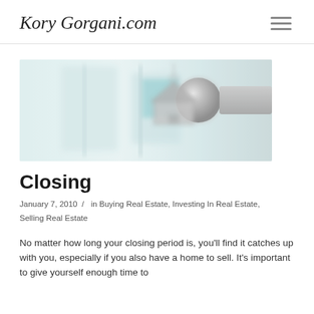KoryGorgani.com
[Figure (photo): Blurred interior hallway photo with a door knob and house-shaped keychain in the foreground]
Closing
January 7, 2010  /  in Buying Real Estate, Investing In Real Estate, Selling Real Estate
No matter how long your closing period is, you'll find it catches up with you, especially if you also have a home to sell. It's important to give yourself enough time to